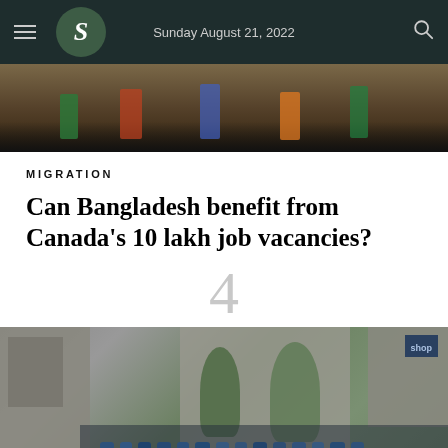S — Sunday August 21, 2022
[Figure (photo): Top portion of a photo showing people in colorful clothing, partially visible]
MIGRATION
Can Bangladesh benefit from Canada's 10 lakh job vacancies?
4
[Figure (photo): Street scene showing a crowd of people gathered near a building, some wearing masks, urban Bangladesh setting]